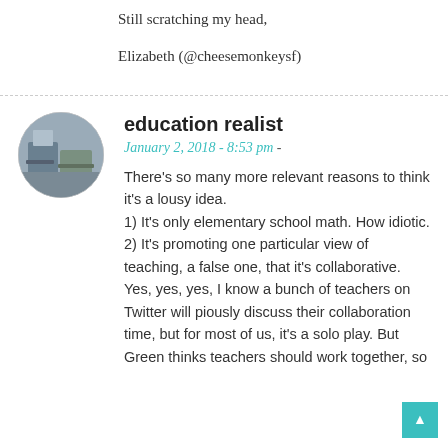Still scratching my head,
Elizabeth (@cheesemonkeysf)
[Figure (photo): Circular avatar photo of commenter 'education realist', showing a classroom scene]
education realist
January 2, 2018 - 8:53 pm -
There's so many more relevant reasons to think it's a lousy idea.
1) It's only elementary school math. How idiotic.
2) It's promoting one particular view of teaching, a false one, that it's collaborative. Yes, yes, yes, I know a bunch of teachers on Twitter will piously discuss their collaboration time, but for most of us, it's a solo play. But Green thinks teachers should work together, so